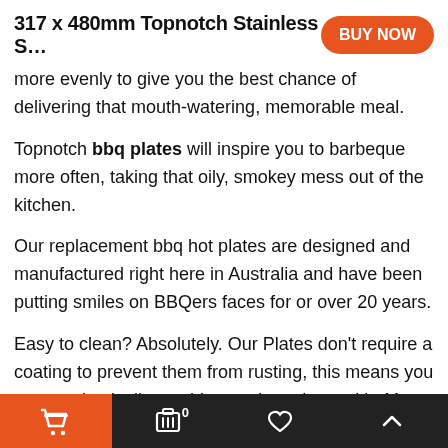317 x 480mm Topnotch Stainless S…
more evenly to give you the best chance of delivering that mouth-watering, memorable meal.
Topnotch bbq plates will inspire you to barbeque more often, taking that oily, smokey mess out of the kitchen.
Our replacement bbq hot plates are designed and manufactured right here in Australia and have been putting smiles on BBQers faces for or over 20 years.
Easy to clean? Absolutely. Our Plates don't require a coating to prevent them from rusting, this means you can use basically anything to clean them with. Most of the time you can get away with a spatula or a scotch brite pad. If it's
Cart | Cart 0 | Wishlist | Up